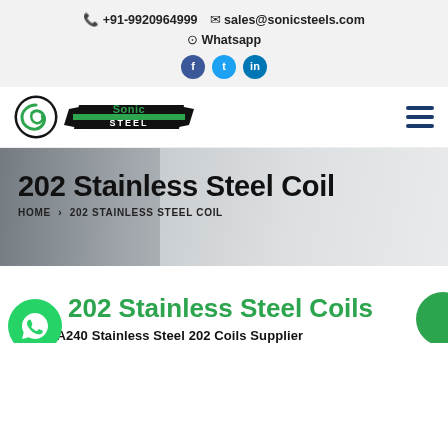+91-9920964999  sales@sonicsteels.com  Whatsapp
[Figure (logo): Sonic Steel company logo with green spiral icon and company name]
202 Stainless Steel Coil
HOME › 202 STAINLESS STEEL COIL
202 Stainless Steel Coils
ASTM A240 Stainless Steel 202 Coils Supplier